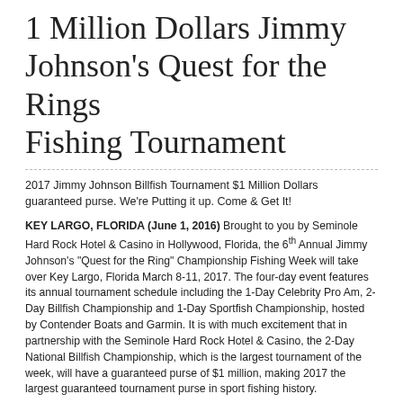1 Million Dollars Jimmy Johnson's Quest for the Rings Fishing Tournament
2017 Jimmy Johnson Billfish Tournament $1 Million Dollars guaranteed purse. We're Putting it up. Come & Get It!
KEY LARGO, FLORIDA (June 1, 2016) Brought to you by Seminole Hard Rock Hotel & Casino in Hollywood, Florida, the 6th Annual Jimmy Johnson's "Quest for the Ring" Championship Fishing Week will take over Key Largo, Florida March 8-11, 2017. The four-day event features its annual tournament schedule including the 1-Day Celebrity Pro Am, 2-Day Billfish Championship and 1-Day Sportfish Championship, hosted by Contender Boats and Garmin. It is with much excitement that in partnership with the Seminole Hard Rock Hotel & Casino, the 2-Day National Billfish Championship, which is the largest tournament of the week, will have a guaranteed purse of $1 million, making 2017 the largest guaranteed tournament purse in sport fishing history.
Competitive anglers from around the country will join together for what will be a historic event, making a big splash in the beautiful setting of Key Largo in the Florida Keys. There is no need to wait for number of boats to register...